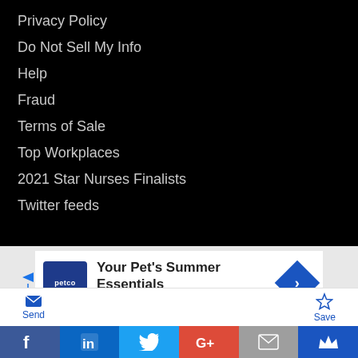Privacy Policy
Do Not Sell My Info
Help
Fraud
Terms of Sale
Top Workplaces
2021 Star Nurses Finalists
Twitter feeds
[Figure (screenshot): Petco advertisement banner: 'Your Pet's Summer Essentials' with Petco logo and navigation arrow icon]
[Figure (screenshot): Toolbar with Send and Save buttons, and social sharing bar with Facebook, LinkedIn, Twitter, Google+, Email, and Crown/King icons]